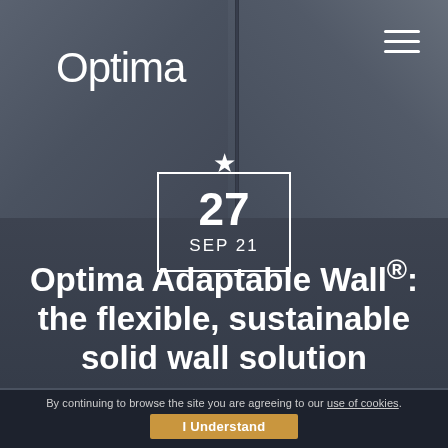[Figure (photo): Dark grey 3D room corner background with wall panels and ceiling visible]
Optima
[Figure (infographic): Star icon above a white-bordered calendar date box showing 27 SEP 21]
Optima Adaptable Wall®: the flexible, sustainable solid wall solution
By continuing to browse the site you are agreeing to our use of cookies.
I Understand